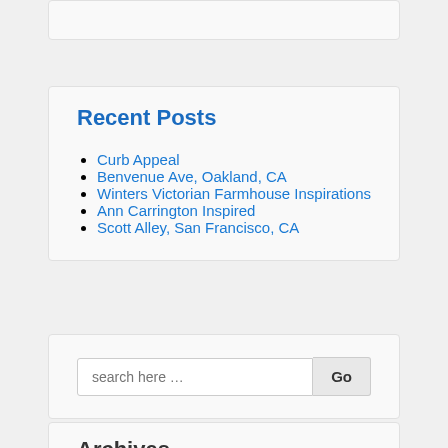Recent Posts
Curb Appeal
Benvenue Ave, Oakland, CA
Winters Victorian Farmhouse Inspirations
Ann Carrington Inspired
Scott Alley, San Francisco, CA
search here …
Archives